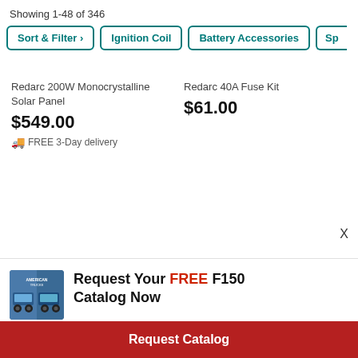Showing 1-48 of 346
Sort & Filter > | Ignition Coil | Battery Accessories | Sp
Redarc 200W Monocrystalline Solar Panel
$549.00
FREE 3-Day delivery
Redarc 40A Fuse Kit
$61.00
X
[Figure (photo): American Trucks F150 catalog cover showing lifted trucks]
Request Your FREE F150 Catalog Now
Request Catalog